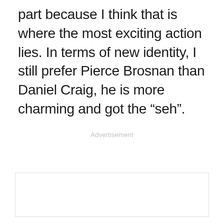part because I think that is where the most exciting action lies. In terms of new identity, I still prefer Pierce Brosnan than Daniel Craig, he is more charming and got the “seh”.
Advertisement
[Figure (other): Empty advertisement placeholder box with a light border]